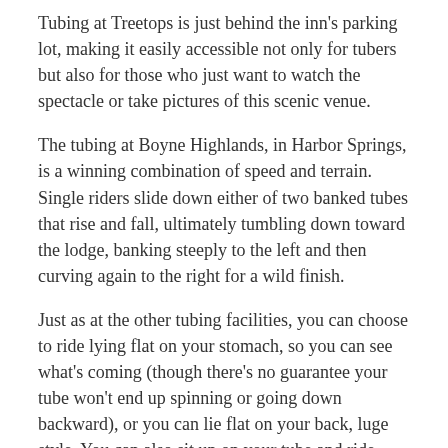Tubing at Treetops is just behind the inn's parking lot, making it easily accessible not only for tubers but also for those who just want to watch the spectacle or take pictures of this scenic venue.
The tubing at Boyne Highlands, in Harbor Springs, is a winning combination of speed and terrain. Single riders slide down either of two banked tubes that rise and fall, ultimately tumbling down toward the lodge, banking steeply to the left and then curving again to the right for a wild finish.
Just as at the other tubing facilities, you can choose to ride lying flat on your stomach, so you can see what's coming (though there's no guarantee your tube won't end up spinning or going down backward), or you can lie flat on your back, luge style. You can also sit up on your tube and ride down cross-legged.
The tubing runs at the sprawling Boyne Highlands are next